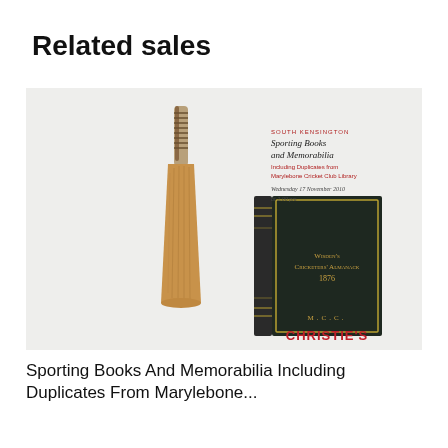Related sales
[Figure (photo): Christie's auction catalogue cover for 'Sporting Books And Memorabilia Including Duplicates From Marylebone Cricket Club Library', Wednesday 17 November 2010 at 2.00 pm. The image shows a cricket bat standing upright on the left, and a small dark-covered book titled Wisden's Cricketers' Almanack 1876 on the right, with the Christie's logo in red at the bottom.]
Sporting Books And Memorabilia Including Duplicates From Marylebone...